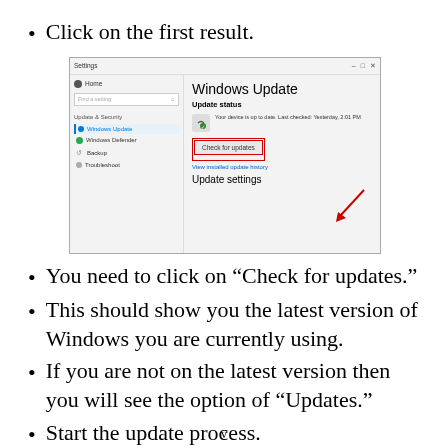Click on the first result.
[Figure (screenshot): Windows Settings screenshot showing Windows Update panel with 'Check for updates' button highlighted with a red box and red arrow annotation.]
You need to click on “Check for updates.”
This should show you the latest version of Windows you are currently using.
If you are not on the latest version then you will see the option of “Updates.”
Start the update process.